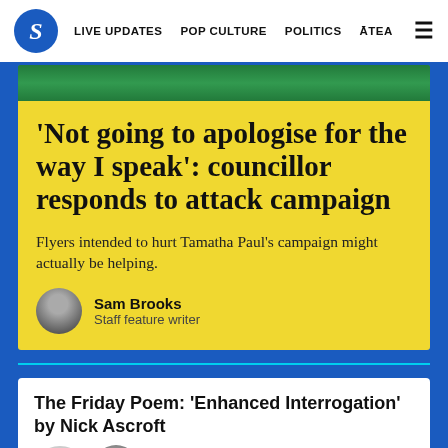S  LIVE UPDATES  POP CULTURE  POLITICS  ĀTEA  ☰
[Figure (photo): Green background decorative image strip at top of article card]
'Not going to apologise for the way I speak': councillor responds to attack campaign
Flyers intended to hurt Tamatha Paul's campaign might actually be helping.
Sam Brooks
Staff feature writer
The Friday Poem: 'Enhanced Interrogation' by Nick Ascroft
Nick Ascroft
Guest writer